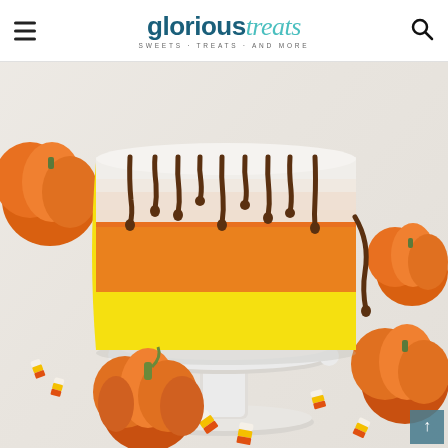glorious treats — SWEETS · TREATS · AND MORE
[Figure (photo): A candy corn themed layered cake with white, orange, and yellow frosting and chocolate drip on top, displayed on a white scalloped cake stand on a marble surface, surrounded by mini pumpkins and candy corn pieces scattered around. A small orange pumpkin sits in front of the stand.]